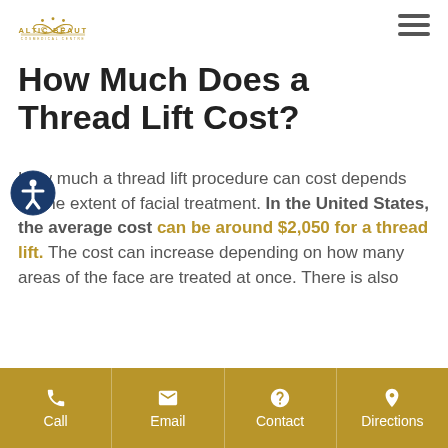[Figure (logo): Baltic Beauty Cosmedical Centre logo with golden butterfly/decorative icon and text]
How Much Does a Thread Lift Cost?
How much a thread lift procedure can cost depends on the extent of facial treatment. In the United States, the average cost can be around $2,050 for a thread lift. The cost can increase depending on how many areas of the face are treated at once. There is also
Call | Email | Contact | Directions